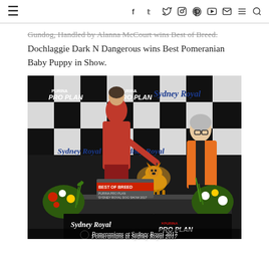≡  f  t  ⊙  ⊕  ▶  ✉  ≡  🔍
Dochlaggie Dark N Dangerous wins Best Pomeranian Baby Puppy in Show.
[Figure (photo): Two women standing behind a show table at Sydney Royal 2017. The woman on the left wears a red suit and holds the lead of a small fluffy orange Pomeranian dog on the table. The woman on the right wears an orange jacket. Behind them is a checkerboard backdrop with Purina Pro Plan and Sydney Royal sponsor logos. Flowers are arranged on each side of the table. A 'Best of Breed' sign is on the table.]
Pomeranians at Sydney Royal 2017